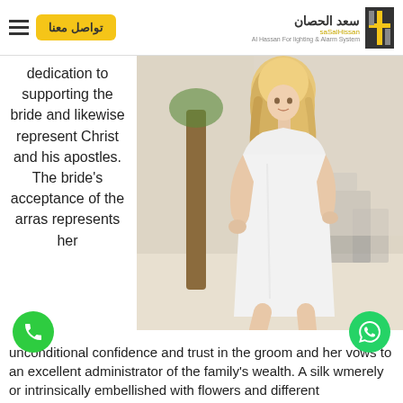تواصل معنا | سعد الحصان - Al Hassan For lighting & Alarm System
dedication to supporting the bride and likewise represent Christ and his apostles. The bride's acceptance of the arras represents her
[Figure (photo): A blonde woman wearing a white sleeveless mini dress, standing outdoors in a shopping or restaurant area with blurred background.]
unconditional confidence and trust in the groom and her vows to an excellent administrator of the family's wealth. A silk w... merely or intrinsically embellished with flowers and different